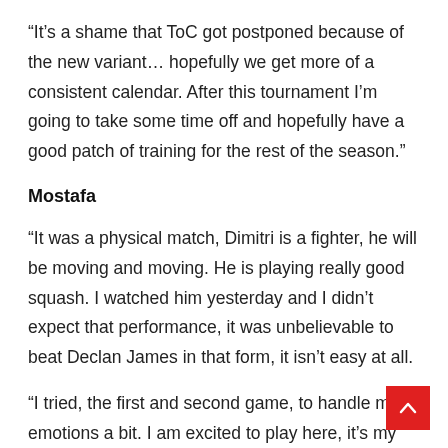“It’s a shame that ToC got postponed because of the new variant… hopefully we get more of a consistent calendar. After this tournament I’m going to take some time off and hopefully have a good patch of training for the rest of the season.”
Mostafa
“It was a physical match, Dimitri is a fighter, he will be moving and moving. He is playing really good squash. I watched him yesterday and I didn’t expect that performance, it was unbelievable to beat Declan James in that form, it isn’t easy at all.
“I tried, the first and second game, to handle my emotions a bit. I am excited to play here, it’s my second…